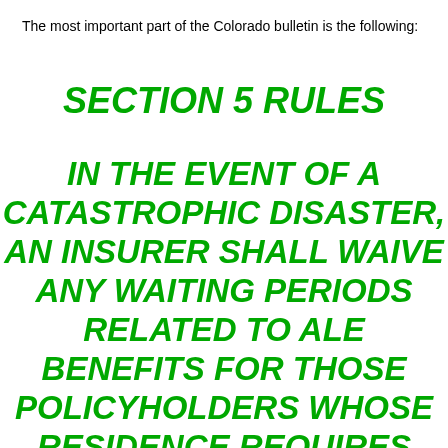The most important part of the Colorado bulletin is the following:
SECTION 5 RULES
IN THE EVENT OF A CATASTROPHIC DISASTER, AN INSURER SHALL WAIVE ANY WAITING PERIODS RELATED TO ALE BENEFITS FOR THOSE POLICYHOLDERS WHOSE RESIDENCE REQUIRES